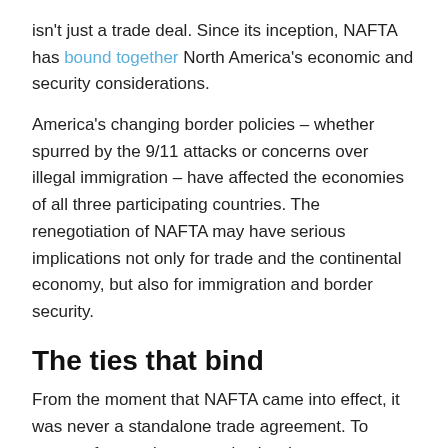isn't just a trade deal. Since its inception, NAFTA has bound together North America's economic and security considerations.
America's changing border policies – whether spurred by the 9/11 attacks or concerns over illegal immigration – have affected the economies of all three participating countries. The renegotiation of NAFTA may have serious implications not only for trade and the continental economy, but also for immigration and border security.
The ties that bind
From the moment that NAFTA came into effect, it was never a standalone trade agreement. To support free trade, a complex border management regime was needed.